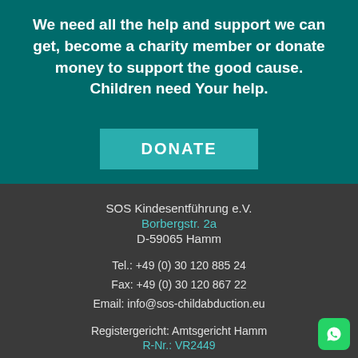We need all the help and support we can get, become a charity member or donate money to support the good cause. Children need Your help.
DONATE
SOS Kindesentführung e.V.
Borbergstr. 2a
D-59065 Hamm
Tel.: +49 (0) 30 120 885 24
Fax: +49 (0) 30 120 867 22
Email: info@sos-childabduction.eu
Registergericht: Amtsgericht Hamm
R-Nr.: VR2449